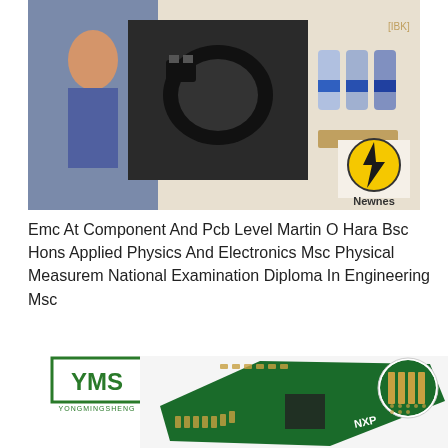[Figure (photo): Book cover showing electronic components including inductors, capacitors, and a Newnes publisher logo with a lightning bolt symbol. Published by Newnes.]
Emc At Component And Pcb Level Martin O Hara Bsc Hons Applied Physics And Electronics Msc Physical Measurem National Examination Diploma In Engineering Msc
[Figure (logo): YMS (YONGMINGSHENG) company logo in green with a square border]
[Figure (photo): Photo of a green PCB (printed circuit board) with NXP branding, showing gold contact pads and various electronic components. Inset circle shows close-up of the PCB pads.]